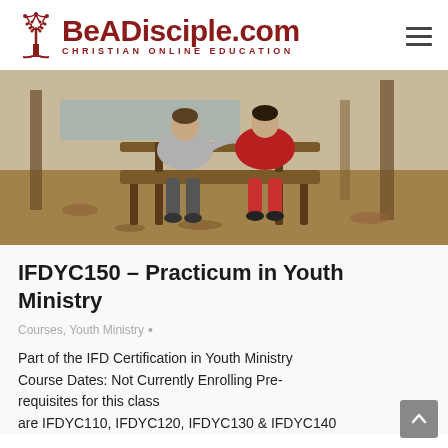BeADisciple.com — CHRISTIAN ONLINE EDUCATION
[Figure (photo): Two people sitting on a wooden bench from behind, outdoors in a wooded area with autumn leaves on the ground near a lake.]
IFDYC150 – Practicum in Youth Ministry
Courses, Youth Ministry •
Part of the IFD Certification in Youth Ministry Course Dates: Not Currently Enrolling Pre-requisites for this class are IFDYC110, IFDYC120, IFDYC130 & IFDYC140